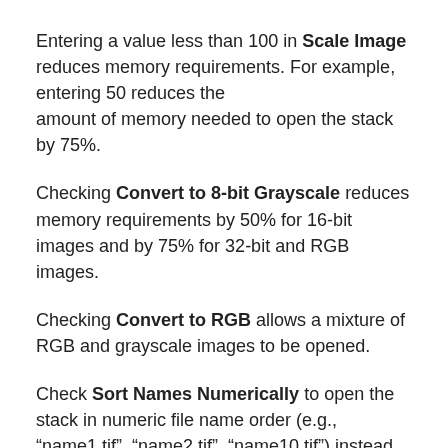Entering a value less than 100 in Scale Image reduces memory requirements. For example, entering 50 reduces the amount of memory needed to open the stack by 75%.
Checking Convert to 8-bit Grayscale reduces memory requirements by 50% for 16-bit images and by 75% for 32-bit and RGB images.
Checking Convert to RGB allows a mixture of RGB and grayscale images to be opened.
Check Sort Names Numerically to open the stack in numeric file name order (e.g., “name1.tif”, “name2.tif”, “name10.tif”) instead of alphanumeric order (e.g., “name1.tif”, “name10.tif”, “name2.tif”). DICOM files in the same series (tag# 0020,0011) are always sorted by the image number tag (0020,0013). The “List Stack Tags” macro, part of the ListDicomTags macro set, lists the